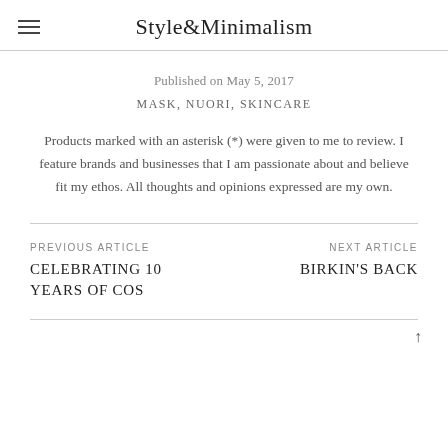Style&Minimalism
Published on May 5, 2017
MASK, NUORI, SKINCARE
Products marked with an asterisk (*) were given to me to review. I feature brands and businesses that I am passionate about and believe fit my ethos. All thoughts and opinions expressed are my own.
PREVIOUS ARTICLE
CELEBRATING 10 YEARS OF COS
NEXT ARTICLE
BIRKIN'S BACK